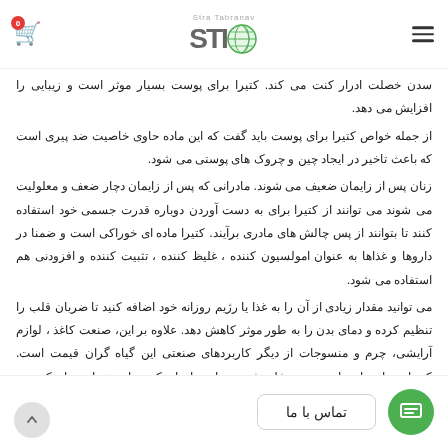STIo logo header with cart icon and menu icon
سدن خصلت ادرار کنت می کند. کتیرا برای پوست بسیار موثر است و زیبایی را افزایش می دهد. از جمله خواص کتیرا برای پوست باید گفت که این ماده حاوی خاصیت ضد پیری است که باعث تاخیر در ایجاد چین و چروک های پوستی می شود. زنان پس از زایمان ضعیف می شوند. مادرانی که پس از زایمان دچار ضعف و معلولیت می شوند می توانند از کتیرا برای به دست آوردن دوباره قدرت جسمی خود استفاده کنند تا بتوانند از پس چالش های مادری برآیند. کتیرا ماده ای خوراکی است و ضمنا در داروها و غذاها به عنوان امولسیون کننده ، غلیظ کننده ، تثبیت کننده و افزودنی هم استفاده می شود. می توانید مقدار زیادی از آن را به غذا یا رژیم روزانه خود اضافه کنید تا ضربان قلب را تنظیم کرده و دمای بدن را به طور موثر کاهش دهد. علاوه بر این، صنعت کاغذ ، لوازم آرایشی، چرم و منسوجات از دیگر کاربردهای صنعتی این گیاه گران قیمت است. کتیرا در داروهای رایج بصورت ژل، شربت ها ، پمادها و کرم ها به عنوان روان کننده و غلیظ کننده استفاده می شود.
تماس با ما